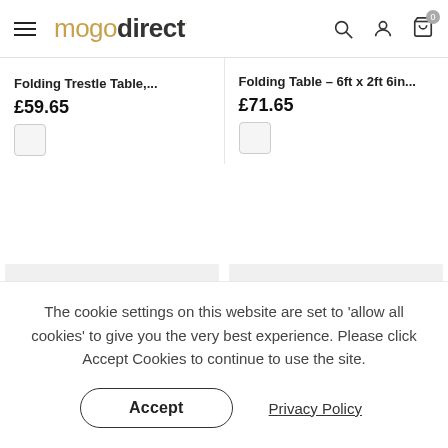mogodirect
Folding Trestle Table,...
£59.65
Folding Table - 6ft x 2ft 6in...
£71.65
[Figure (photo): Product placeholder image left]
[Figure (photo): Product placeholder image right]
The cookie settings on this website are set to 'allow all cookies' to give you the very best experience. Please click Accept Cookies to continue to use the site.
Accept
Privacy Policy